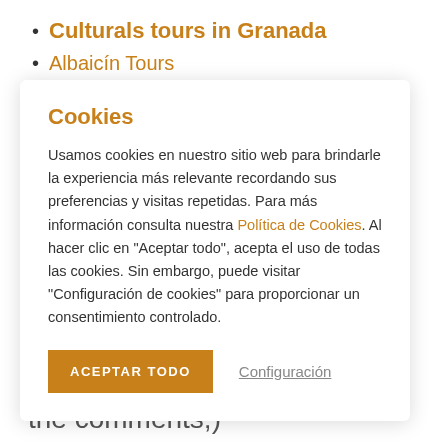Culturals tours in Granada
Albaicín Tours
Cookies
Usamos cookies en nuestro sitio web para brindarle la experiencia más relevante recordando sus preferencias y visitas repetidas. Para más información consulta nuestra Política de Cookies. Al hacer clic en "Aceptar todo", acepta el uso de todas las cookies. Sin embargo, puede visitar "Configuración de cookies" para proporcionar un consentimiento controlado.
ACEPTAR TODO    Configuración
Do you know any more? Feel free to leave your proposal in the comments;)